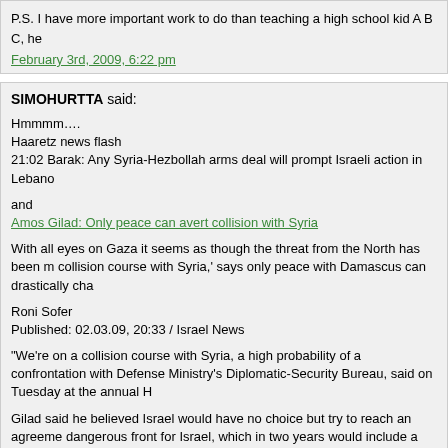P.S. I have more important work to do than teaching a high school kid A B C, he
February 3rd, 2009, 6:22 pm
SIMOHURTTA said:
Hmmmm….
Haaretz news flash
21:02 Barak: Any Syria-Hezbollah arms deal will prompt Israeli action in Lebano
and
Amos Gilad: Only peace can avert collision with Syria
With all eyes on Gaza it seems as though the threat from the North has been m collision course with Syria,' says only peace with Damascus can drastically cha
Roni Sofer
Published: 02.03.09, 20:33 / Israel News
“We’re on a collision course with Syria, a high probability of a confrontation with Defense Ministry’s Diplomatic-Security Bureau, said on Tuesday at the annual H
Gilad said he believed Israel would have no choice but try to reach an agreeme dangerous front for Israel, which in two years would include a nuclear Iran, Syri debate of former IDF major generals. “The way to prevent this is to try and achi
“We’re on a collision course – on the one hand there’s been quiet since the Yom find ourselves facing a hostile entity on our eastern border – from a nuclear Iran confrontation with Syria, (President Bashar) Assad’s regime may fall and then w more difficult situation.”
Gilad said that he believed it was possible to reach an agreement with Damasc problems on the table – like the demand to sever military ties to Iran, which we can expel the terror headquarters from Damascus, we can weaken the entire h must take into account that somewhere along the way of the process it may falt
Gilad added that whoever the prime minister may be after the coming elections due to the schism between Abu Mazen (Palestinian President Mahmoud Abb